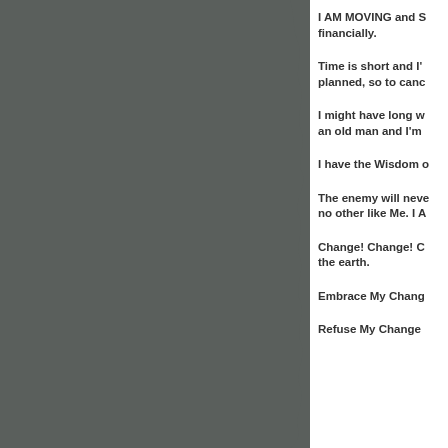[Figure (photo): Dark grey torn paper or textured panel on the left side of the page, with a ragged torn edge on the right side of the panel]
I AM MOVING and S financially.
Time is short and I' planned, so to canc
I might have long w an old man and I'm
I have the Wisdom o
The enemy will neve no other like Me. I A
Change! Change! C the earth.
Embrace My Chang
Refuse My Change